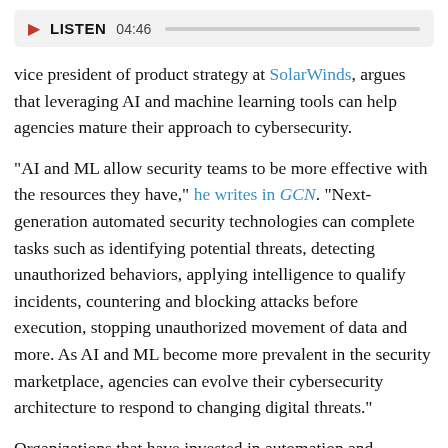[Figure (other): Audio player bar with red play triangle, LISTEN label, time 04:46, and gray progress track]
vice president of product strategy at SolarWinds, argues that leveraging AI and machine learning tools can help agencies mature their approach to cybersecurity.
"AI and ML allow security teams to be more effective with the resources they have," he writes in GCN. "Next-generation automated security technologies can complete tasks such as identifying potential threats, detecting unauthorized behaviors, applying intelligence to qualify incidents, countering and blocking attacks before execution, stopping unauthorized movement of data and more. As AI and ML become more prevalent in the security marketplace, agencies can evolve their cybersecurity architecture to respond to changing digital threats."
Organizations that have invested in automation and